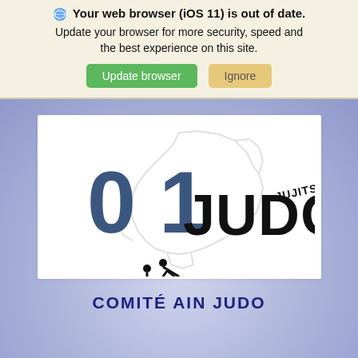Your web browser (iOS 11) is out of date. Update your browser for more security, speed and the best experience on this site.
Update browser | Ignore
[Figure (logo): 01 Judo Jujitsu logo with a map outline of the Ain department in the background, showing '01 JUDO' text with a stylized judo throw figure]
COMITÉ AIN JUDO